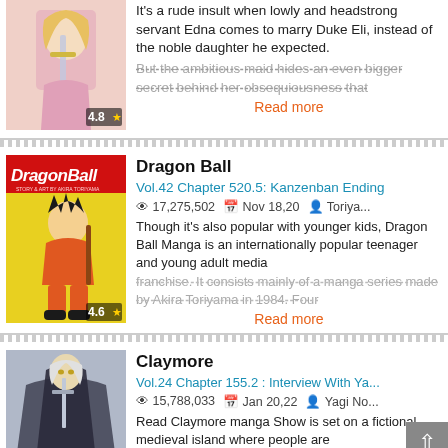[Figure (illustration): Manga cover image (top entry, partially visible, blond character with sword), rating badge 4.8]
It's a rude insult when lowly and headstrong servant Edna comes to marry Duke Eli, instead of the noble daughter he expected. But the ambitious maid hides an even bigger secret behind her obsequiousness that...
Read more
Dragon Ball
Vol.42 Chapter 520.5: Kanzenban Ending
17,275,502   Nov 18,20   Toriya...
Though it's also popular with younger kids, Dragon Ball Manga is an internationally popular teenager and young adult media franchise. It consists mainly of a manga series made by Akira Toriyama in 1984. Four...
Read more
[Figure (illustration): Dragon Ball manga cover with Goku character, rating badge 4.6]
Claymore
Vol.24 Chapter 155.2 : Interview With Ya...
15,788,033   Jan 20,22   Yagi No...
Read Claymore manga Show is set on a fictional medieval island where people are
[Figure (illustration): Claymore manga cover with armored female character]